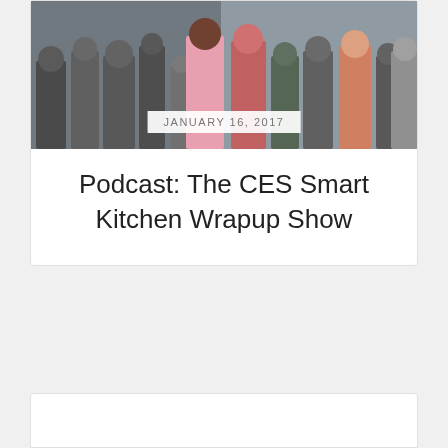[Figure (photo): Crowd of people at what appears to be a trade show or tech conference (CES), with people walking around an exhibition floor.]
JANUARY 16, 2017
Podcast: The CES Smart Kitchen Wrapup Show